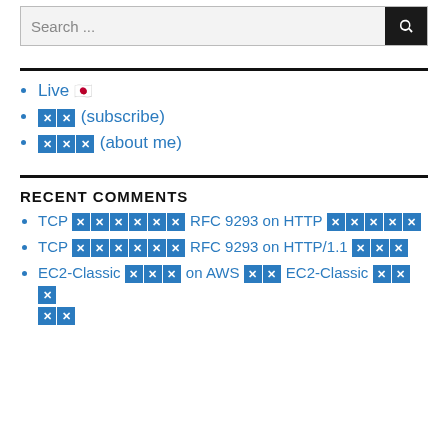Search ...
Live 🇯🇵
🔲🔲 (subscribe)
🔲🔲🔲 (about me)
RECENT COMMENTS
TCP 🔲🔲🔲🔲🔲🔲 RFC 9293 on HTTP 🔲🔲🔲🔲🔲
TCP 🔲🔲🔲🔲🔲🔲 RFC 9293 on HTTP/1.1 🔲🔲🔲
EC2-Classic 🔲🔲🔲 on AWS 🔲🔲 EC2-Classic 🔲🔲🔲 🔲🔲